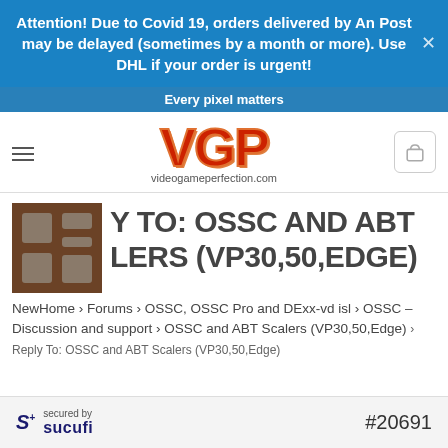Attention! Due to Covid 19, orders delivered by An Post may be delayed (sometimes by a month or more). Use DHL if your order is urgent!
Every pixel matters
[Figure (logo): VGP logo with text videogameperfection.com]
REPLY TO: OSSC AND ABT SCALERS (VP30,50,EDGE)
NewHome › Forums › OSSC, OSSC Pro and DExx-vd isl › OSSC – Discussion and support › OSSC and ABT Scalers (VP30,50,Edge) › Reply To: OSSC and ABT Scalers (VP30,50,Edge)
secured by Sucuri   #20691